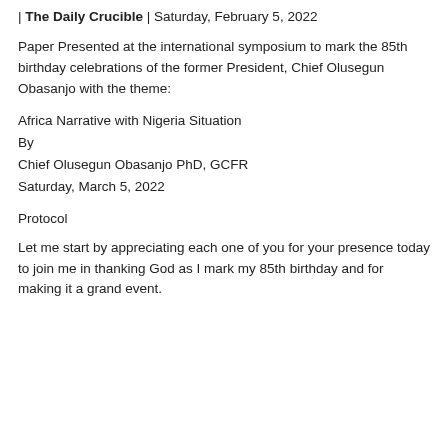| The Daily Crucible | Saturday, February 5, 2022
Paper Presented at the international symposium to mark the 85th birthday celebrations of the former President, Chief Olusegun Obasanjo with the theme:
Africa Narrative with Nigeria Situation
By
Chief Olusegun Obasanjo PhD, GCFR
Saturday, March 5, 2022
Protocol
Let me start by appreciating each one of you for your presence today to join me in thanking God as I mark my 85th birthday and for making it a grand event.